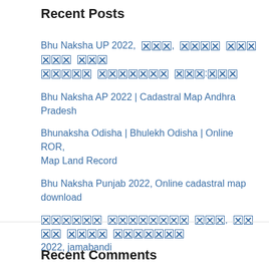Recent Posts
Bhu Naksha UP 2022, [Hindi text], [Hindi text]
Bhu Naksha AP 2022 | Cadastral Map Andhra Pradesh
Bhunaksha Odisha | Bhulekh Odisha | Online ROR, Map Land Record
Bhu Naksha Punjab 2022, Online cadastral map download
[Hindi text], 2022, jamabandi
Recent Comments